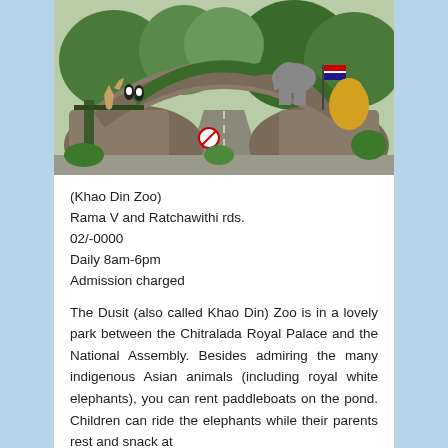[Figure (photo): Entrance gate of Khao Din Zoo (Dusit Zoo) with ornate rock arch decorated with animal sculptures including elephants, penguins, deer, and a lion. Thai flags visible on the right side. Road leads into the zoo through the arch.]
(Khao Din Zoo)
Rama V and Ratchawithi rds.
02/-0000
Daily 8am-6pm
Admission charged
The Dusit (also called Khao Din) Zoo is in a lovely park between the Chitralada Royal Palace and the National Assembly. Besides admiring the many indigenous Asian animals (including royal white elephants), you can rent paddleboats on the pond. Children can ride the elephants while their parents rest and snack at